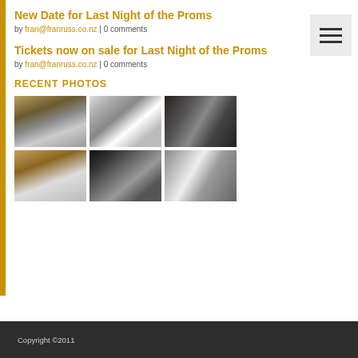New Date for Last Night of the Proms
by fran@franruss.co.nz | 0 comments
Tickets now on sale for Last Night of the Proms
by fran@franruss.co.nz | 0 comments
RECENT PHOTOS
[Figure (photo): Grid of 6 orchestra/concert photos arranged in 2 rows of 3]
Copyright ©2011